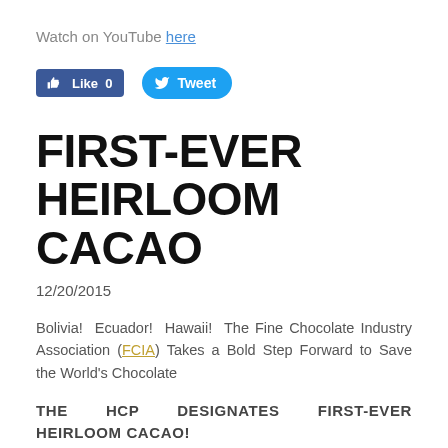Watch on YouTube here
[Figure (screenshot): Facebook Like button showing 'Like 0' and Twitter Tweet button]
FIRST-EVER HEIRLOOM CACAO
12/20/2015
Bolivia! Ecuador! Hawaii! The Fine Chocolate Industry Association (FCIA) Takes a Bold Step Forward to Save the World's Chocolate
THE HCP DESIGNATES FIRST-EVER HEIRLOOM CACAO!
February 2014 — The best chocolate in the world